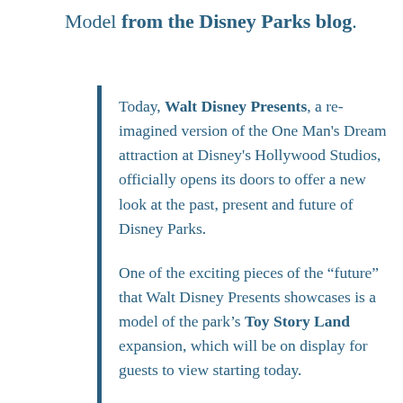Model from the Disney Parks blog.
Today, Walt Disney Presents, a re-imagined version of the One Man's Dream attraction at Disney's Hollywood Studios, officially opens its doors to offer a new look at the past, present and future of Disney Parks.
One of the exciting pieces of the “future” that Walt Disney Presents showcases is a model of the park’s Toy Story Land expansion, which will be on display for guests to view starting today.
The Toy Story Land expansion, which will open in Summer 2018, will shrink guests to the size of a toy and allow them to explore all the fun of Andy’s backyard, which as you can see in these